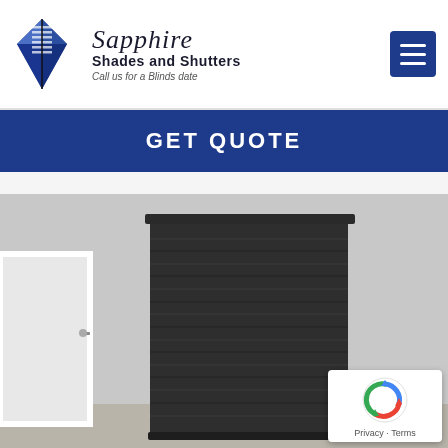[Figure (logo): Sapphire Shades and Shutters logo with a blue diamond/gem icon and brand name in italic script, tagline: Call us for a Blinds date]
GET QUOTE
[Figure (photo): Interior room photo showing a dark charcoal/black honeycomb cellular shade/blind fully lowered on a window, with a white picture frame on the left wall and candles on the right]
[Figure (other): reCAPTCHA badge with Privacy and Terms links]